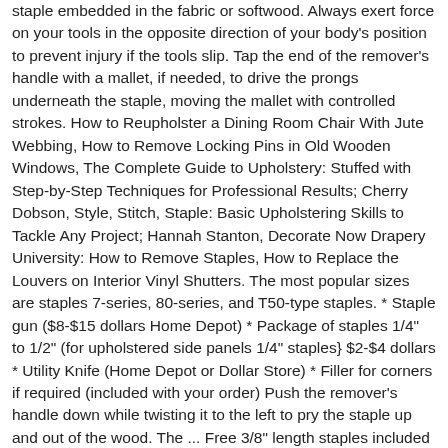staple embedded in the fabric or softwood. Always exert force on your tools in the opposite direction of your body's position to prevent injury if the tools slip. Tap the end of the remover's handle with a mallet, if needed, to drive the prongs underneath the staple, moving the mallet with controlled strokes. How to Reupholster a Dining Room Chair With Jute Webbing, How to Remove Locking Pins in Old Wooden Windows, The Complete Guide to Upholstery: Stuffed with Step-by-Step Techniques for Professional Results; Cherry Dobson, Style, Stitch, Staple: Basic Upholstering Skills to Tackle Any Project; Hannah Stanton, Decorate Now Drapery University: How to Remove Staples, How to Replace the Louvers on Interior Vinyl Shutters. The most popular sizes are staples 7-series, 80-series, and T50-type staples. * Staple gun ($8-$15 dollars Home Depot) * Package of staples 1/4" to 1/2" (for upholstered side panels 1/4" staples} $2-$4 dollars * Utility Knife (Home Depot or Dollar Store) * Filler for corners if required (included with your order) Push the remover's handle down while twisting it to the left to pry the staple up and out of the wood. The ... Free 3/8" length staples included in your order and free swivel coupler. The Home Depot ANCASTER #7007 In response to measures introduced by the Ontario government to help contain the spread of COVID-19, our Ontario stores remain open for curbside pick-up only. Upholstery staple pack contains 5,000